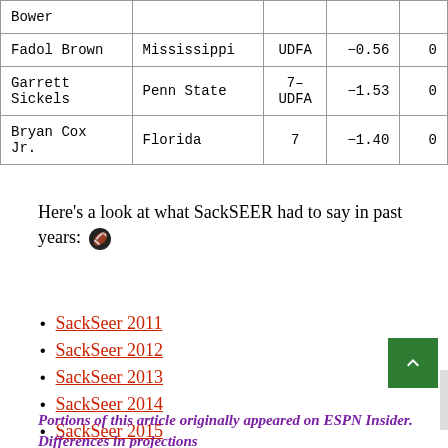| Player | School | Round | Score |  |
| --- | --- | --- | --- | --- |
| Bower |  |  |  |  |
| Fadol Brown | Mississippi | UDFA | -0.56 | 0 |
| Garrett Sickels | Penn State | 7-UDFA | -1.53 | 0 |
| Bryan Cox Jr. | Florida | 7 | -1.40 | 0 |
Here's a look at what SackSEER had to say in past years:
SackSeer 2011
SackSeer 2012
SackSeer 2013
SackSeer 2014
SackSeer 2015
SackSeer 2016
Portions of this article originally appeared on ESPN Insider. Differences in projections